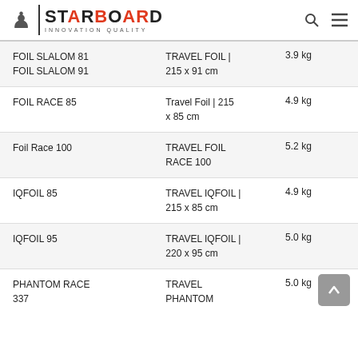STARBOARD INNOVATION QUALITY
| Product | Bag | Weight |
| --- | --- | --- |
| FOIL SLALOM 81
FOIL SLALOM 91 | TRAVEL FOIL | 215 x 91 cm | 3.9 kg |
| FOIL RACE 85 | Travel Foil | 215 x 85 cm | 4.9 kg |
| Foil Race 100 | TRAVEL FOIL RACE 100 | 5.2 kg |
| IQFOIL 85 | TRAVEL IQFOIL | 215 x 85 cm | 4.9 kg |
| IQFOIL 95 | TRAVEL IQFOIL | 220 x 95 cm | 5.0 kg |
| PHANTOM RACE 337 | TRAVEL PHANTOM | 5.0 kg |